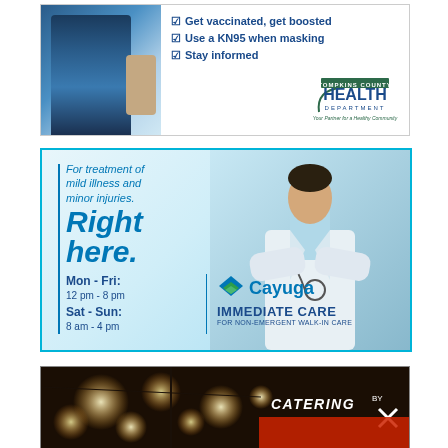[Figure (illustration): Tompkins County Health Department advertisement with a person being vaccinated photo, checklist items: Get vaccinated get boosted, Use a KN95 when masking, Stay informed, and the Tompkins County Health Department logo]
[Figure (illustration): Cayuga Immediate Care advertisement showing a doctor in white coat with stethoscope. Text: For treatment of mild illness and minor injuries. Right here. Mon-Fri: 12pm-8pm, Sat-Sun: 8am-4pm. Cayuga Immediate Care for non-emergent walk-in care.]
[Figure (illustration): Catering advertisement with warm bokeh lights background and text CATERING BY X]